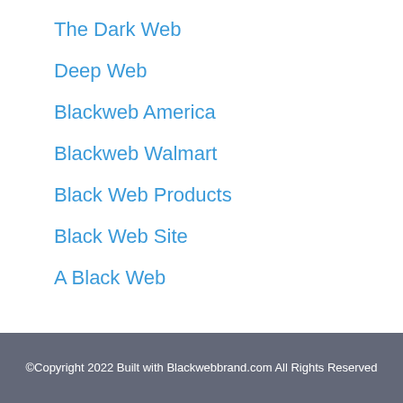The Dark Web
Deep Web
Blackweb America
Blackweb Walmart
Black Web Products
Black Web Site
A Black Web
©Copyright 2022 Built with Blackwebbrand.com All Rights Reserved